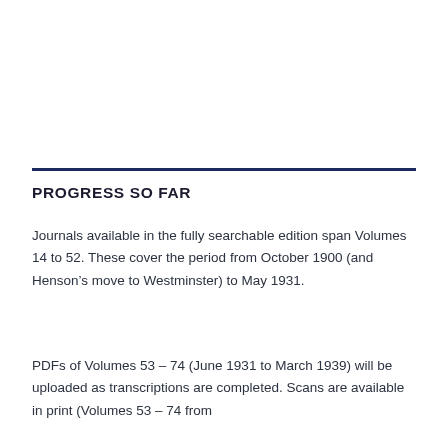PROGRESS SO FAR
Journals available in the fully searchable edition span Volumes 14 to 52. These cover the period from October 1900 (and Henson’s move to Westminster) to May 1931.
PDFs of Volumes 53 – 74 (June 1931 to March 1939) will be uploaded as transcriptions are completed. Scans are available in print (Volumes 53 – 74 from